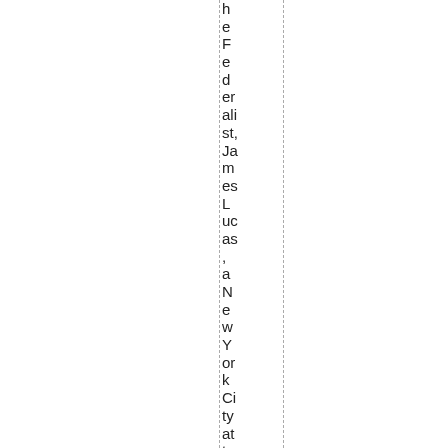heFederalist, James Lucas, a New York City attorney, wr...